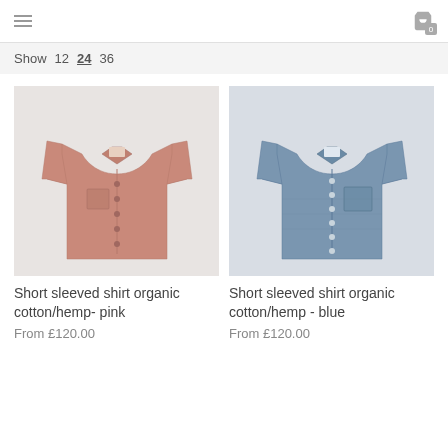Navigation header with hamburger menu and cart icon showing 0 items
Show 12 24 36
[Figure (photo): Short sleeved shirt organic cotton/hemp in pink color on light grey background]
[Figure (photo): Short sleeved shirt organic cotton/hemp in blue/chambray color on light grey background]
Short sleeved shirt organic cotton/hemp- pink
From £120.00
Short sleeved shirt organic cotton/hemp - blue
From £120.00